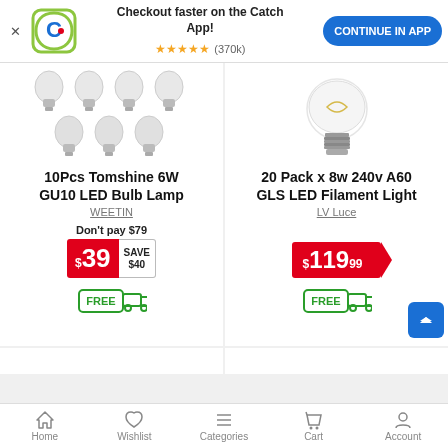[Figure (screenshot): App install banner with Catch.com.au logo, text 'Checkout faster on the Catch App!', 5 star rating (370k), and blue CONTINUE IN APP button]
[Figure (photo): 10 pack of GU10 LED spotlight bulbs arranged in 2 rows]
10Pcs Tomshine 6W GU10 LED Bulb Lamp
WEETIN
Don't pay $79
$39 SAVE $40
[Figure (illustration): FREE delivery truck badge]
[Figure (photo): Single A60 GLS LED filament light bulb with visible filament]
20 Pack x 8w 240v A60 GLS LED Filament Light
LV Luce
$119.99
[Figure (illustration): FREE delivery truck badge]
Home  Wishlist  Categories  Cart  Account